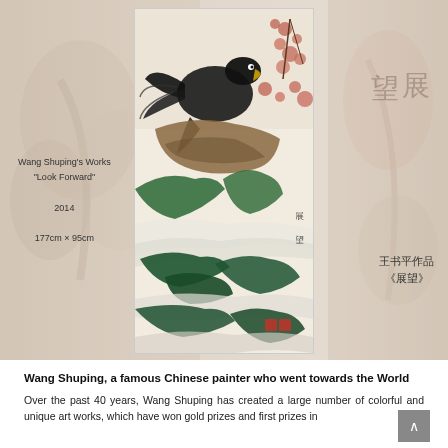[Figure (illustration): A Chinese ink painting depicting a large black eagle perched on rocks with pine trees and blossoming branches, surrounded by mountain scenery. Faded Chinese artwork visible in background on left and right sides. Chinese characters 展望 visible on right of the painting.]
Wang Shuping's Works
"Look Forward"
2014
177cm × 95cm
王书平作品
《展望》
Wang Shuping, a famous Chinese painter who went towards the World
Over the past 40 years, Wang Shuping has created a large number of colorful and unique art works, which have won gold prizes and first prizes in